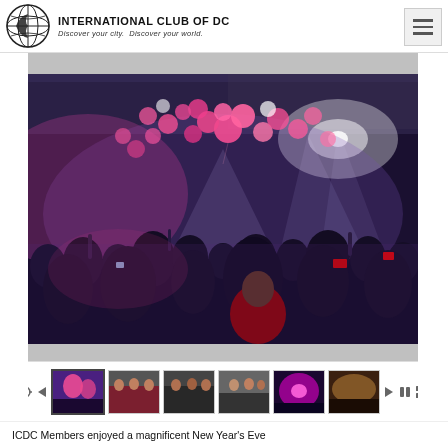INTERNATIONAL CLUB OF DC — Discover your city. Discover your world.
[Figure (photo): A large crowd at a New Year's Eve party with pink balloons falling from the ceiling, colorful stage lights illuminating the scene, people with phones raised.]
[Figure (photo): Thumbnail strip showing multiple event photos including crowd shots, group photos, and stage lighting.]
ICDC Members enjoyed a magnificent New Year's Eve